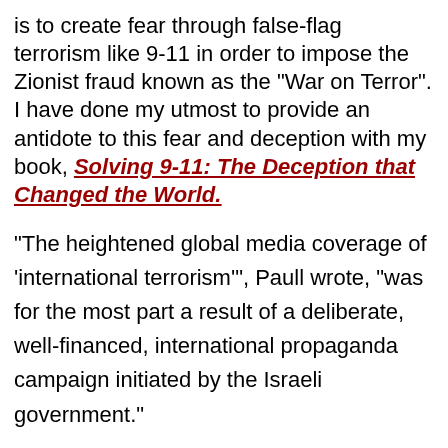is to create fear through false-flag terrorism like 9-11 in order to impose the Zionist fraud known as the "War on Terror". I have done my utmost to provide an antidote to this fear and deception with my book, Solving 9-11: The Deception that Changed the World.
"The heightened global media coverage of 'international terrorism'", Paull wrote, "was for the most part a result of a deliberate, well-financed, international propaganda campaign initiated by the Israeli government."
The theme of 'international terrorism' "was